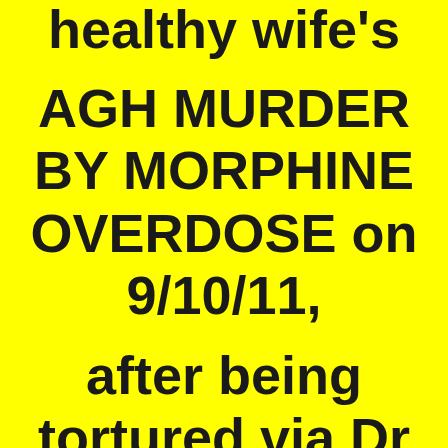healthy wife's
AGH MURDER BY MORPHINE OVERDOSE on 9/10/11,
after being tortured via Dr Sheri A